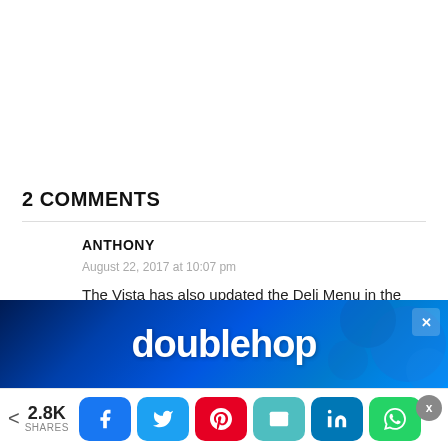2 COMMENTS
ANTHONY
August 22, 2017 at 10:07 pm
The Vista has also updated the Deli Menu in the buffet and is totally different from the previous one.
[Figure (other): Doublehop advertisement banner with blue background and circular decorative elements]
< 2.8K SHARES [Facebook] [Twitter] [Pinterest] [Email] [LinkedIn] [WhatsApp]